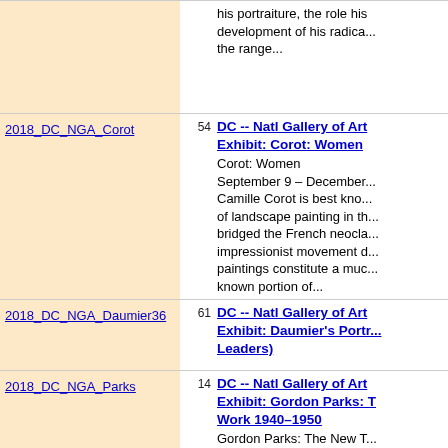| ID | Count | Entry |
| --- | --- | --- |
|  |  | his portraiture, the role his development of his radica... the range... |
| 2018_DC_NGA_Corot | 54 | DC -- Natl Gallery of Art Exhibit: Corot: Women
Corot: Women
September 9 – December...
Camille Corot is best kno... of landscape painting in th... bridged the French neocla... impressionist movement d... paintings constitute a muc... known portion of... |
| 2018_DC_NGA_Daumier36 | 61 | DC -- Natl Gallery of Art Exhibit: Daumier's Portr... Leaders) |
| 2018_DC_NGA_Parks | 14 | DC -- Natl Gallery of Art Exhibit: Gordon Parks: T Work 1940–1950
Gordon Parks: The New T... 1950
November 4, 2018 – Febr...
During the 1940s America... Parks (1912–2006) grew t... photographer making por... everyday life in Saint Pau... visionary professional sho... |
| 2018_DC_NGA_Heavenly | 22 | DC -- Natl Gallery of Art Exhibit: Heavenly Earth... |